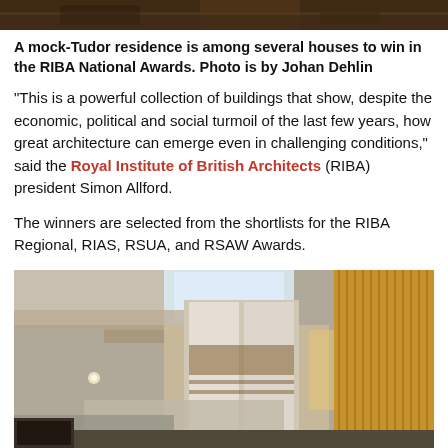[Figure (photo): Top strip of a photo showing a mock-Tudor residence with trees and foliage in the background, dark tones]
A mock-Tudor residence is among several houses to win in the RIBA National Awards. Photo is by Johan Dehlin
“This is a powerful collection of buildings that show, despite the economic, political and social turmoil of the last few years, how great architecture can emerge even in challenging conditions,” said the Royal Institute of British Architects (RIBA) president Simon Allford.
The winners are selected from the shortlists for the RIBA Regional, RIAS, RSUA, and RSAW Awards.
[Figure (photo): Interior architectural photo showing a modern building interior with concrete ceilings, tall wooden slat panels, white walls, large windows with natural light, and a multi-level atrium space]